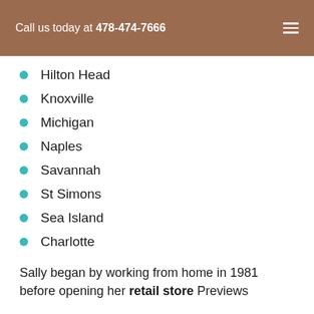Call us today at 478-474-7666
Hilton Head
Knoxville
Michigan
Naples
Savannah
St Simons
Sea Island
Charlotte
Sally began by working from home in 1981 before opening her retail store Previews